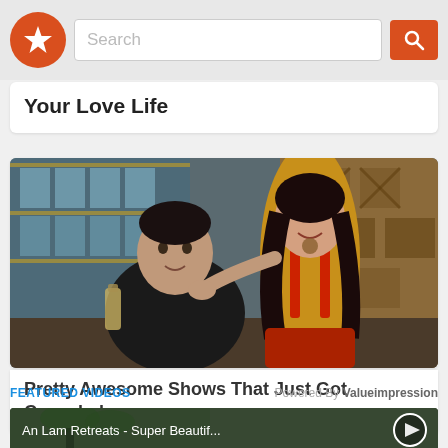Search
Your Love Life
[Figure (photo): A man in a black sweater and a woman in a yellow and red outfit posing together in a TV set environment]
Pretty Awesome Shows That Just Got Canceled
FEATURED VIDEOS   Powered By Valueimpression
[Figure (screenshot): Video thumbnail for An Lam Retreats - Super Beautif... with a play button overlay]